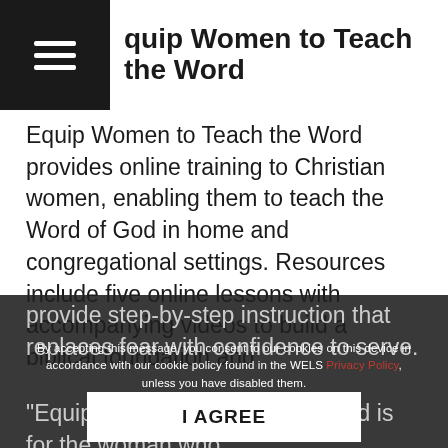Equip Women to Teach the Word
Equip Women to Teach the Word provides online training to Christian women, enabling them to teach the Word of God in home and congregational settings. Resources include five online lessons with accompanying videos to build a biblical foundation and provide step-by-step instruction that replaces fear with confidence to serve.
By accepting this message, you consent to our cookies on this device in accordance with our cookie policy found in the WELS Privacy Policy, unless you have disabled them.
I AGREE
"Equip Women to Teach the Word is for the woman who wants to be prepared, improve her teaching, and stand firm on the